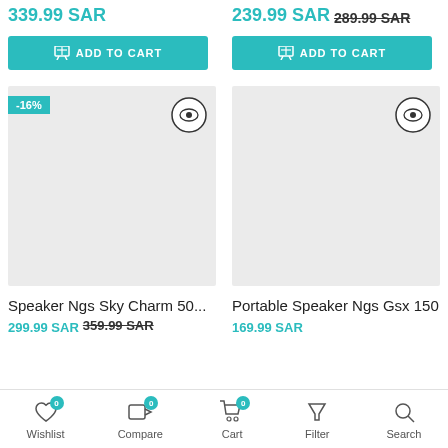339.99 SAR
239.99 SAR 289.99 SAR
ADD TO CART
ADD TO CART
[Figure (screenshot): Product image placeholder (gray box) with -16% badge and eye icon button]
[Figure (screenshot): Product image placeholder (gray box) with eye icon button]
Speaker Ngs Sky Charm 50...
Portable Speaker Ngs Gsx 150
299.99 SAR 359.99 SAR
169.99 SAR
Wishlist 0  Compare 0  Cart 0  Filter  Search